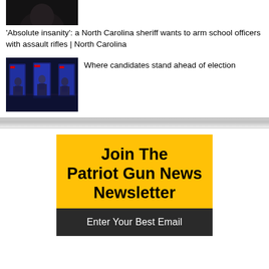[Figure (photo): Partial view of a dark photograph at the top of the page, showing what appears to be a person's face or head in dark tones]
'Absolute insanity': a North Carolina sheriff wants to arm school officers with assault rifles | North Carolina
[Figure (photo): Thumbnail image showing a debate or television studio set with people standing at podiums under blue lighting]
Where candidates stand ahead of election
Join The Patriot Gun News Newsletter
Enter Your Best Email